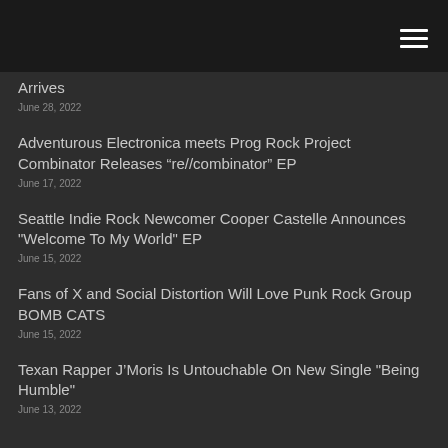Arrives
June 28, 2022
Adventurous Electronica meets Prog Rock Project Combinator Releases “re//combinator” EP
June 17, 2022
Seattle Indie Rock Newcomer Cooper Castelle Announces "Welcome To My World" EP
June 15, 2022
Fans of X and Social Distortion Will Love Punk Rock Group BOMB CATS
June 15, 2022
Texan Rapper J'Moris Is Untouchable On New Single "Being Humble"
June 13, 2022